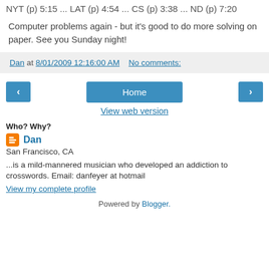NYT (p) 5:15 ... LAT (p) 4:54 ... CS (p) 3:38 ... ND (p) 7:20
Computer problems again - but it's good to do more solving on paper. See you Sunday night!
Dan at 8/01/2009 12:16:00 AM   No comments:
‹  Home  ›  View web version
Who? Why?
Dan
San Francisco, CA
...is a mild-mannered musician who developed an addiction to crosswords. Email: danfeyer at hotmail
View my complete profile
Powered by Blogger.